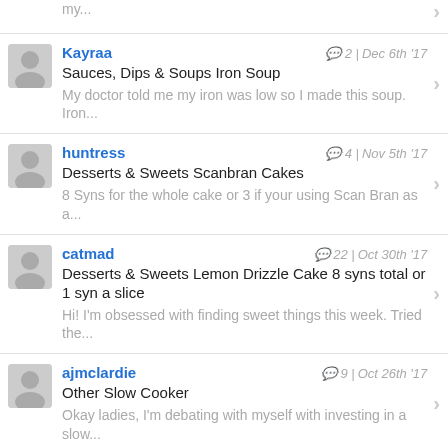my...
Kayraa | 2 | Dec 6th '17 | Sauces, Dips & Soups Iron Soup | My doctor told me my iron was low so I made this soup. Iron...
huntress | 4 | Nov 5th '17 | Desserts & Sweets Scanbran Cakes | 8 Syns for the whole cake or 3 if your using Scan Bran as a...
catmad | 22 | Oct 30th '17 | Desserts & Sweets Lemon Drizzle Cake 8 syns total or 1 syn a slice | Hi! I'm obsessed with finding sweet things this week. Tried the...
ajmclardie | 9 | Oct 26th '17 | Other Slow Cooker | Okay ladies, I'm debating with myself with investing in a slow...
DaisyCat | 1 | Oct 25th '17 | Sauces, Dips & Soups Tomato ketchup | I don't normally use ketchup anymore but wanted to have some...